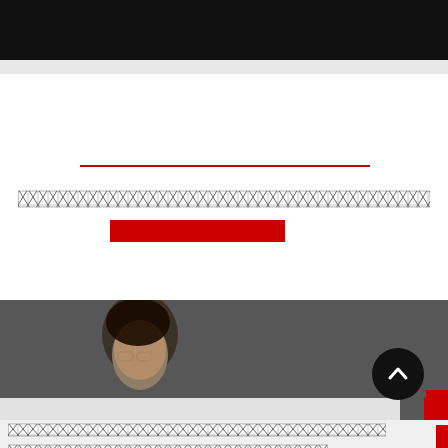[Figure (other): Black top navigation bar with phone icon, envelope icon, and red square icon in top-right corner]
[Figure (other): White content area with a red horizontal underline bar, a red button rectangle, and a row of redacted/pixelated text]
[redacted text row]
[Figure (photo): Photo strip showing two people (a person with glasses on the left and a smiling woman on the right) in a dimmed/darkened photo with a white panel at the bottom, a red square, and a black back-to-top circle button with an upward chevron]
[redacted footer text lines and a red underlined link]